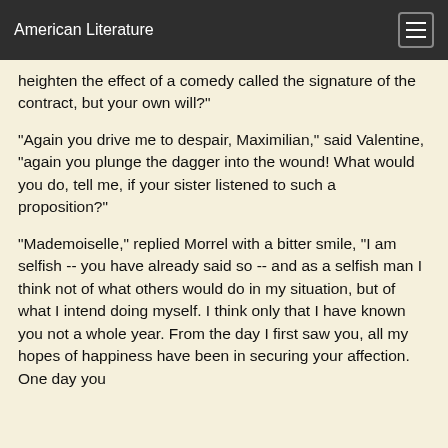American Literature
heighten the effect of a comedy called the signature of the contract, but your own will?"
"Again you drive me to despair, Maximilian," said Valentine, "again you plunge the dagger into the wound! What would you do, tell me, if your sister listened to such a proposition?"
"Mademoiselle," replied Morrel with a bitter smile, "I am selfish -- you have already said so -- and as a selfish man I think not of what others would do in my situation, but of what I intend doing myself. I think only that I have known you not a whole year. From the day I first saw you, all my hopes of happiness have been in securing your affection. One day you